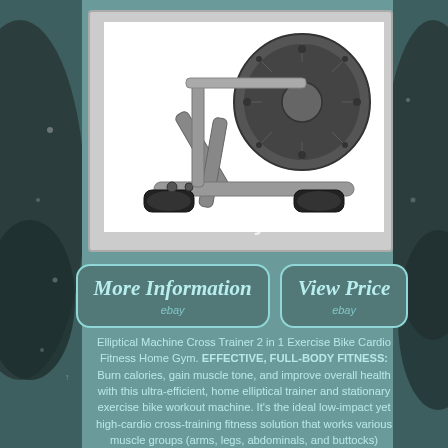[Figure (photo): Product photo of an elliptical machine / cross trainer exercise bike, showing the base frame with stabilizer feet, a large fan wheel, and metal frame structure. White background with eBay watermark.]
More Information
ebay
View Price
ebay
Elliptical Machine Cross Trainer 2 in 1 Exercise Bike Cardio Fitness Home Gym. EFFECTIVE, FULL-BODY FITNESS: Burn calories, gain muscle tone, and improve overall health with this ultra-efficient, home elliptical trainer and stationary exercise bike workout machine. It's the ideal low-impact yet high-cardio cross-training fitness solution that works various muscle groups (arms, legs, abdominals, and buttocks)